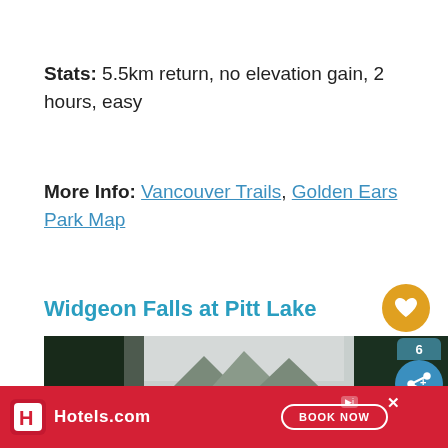Stats: 5.5km return, no elevation gain, 2 hours, easy
More Info: Vancouver Trails, Golden Ears Park Map
Widgeon Falls at Pitt Lake
[Figure (photo): Forest gorge with tall evergreen trees on steep hillsides, overcast sky, river/creek below, nature trail photo for Widgeon Falls at Pitt Lake]
[Figure (infographic): Hotels.com advertisement banner with BOOK NOW button]